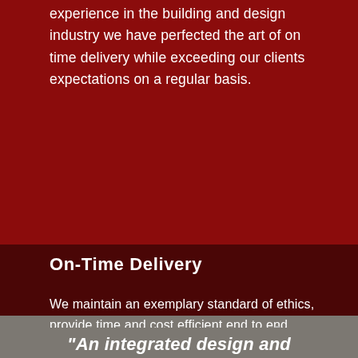experience in the building and design industry we have perfected the art of on time delivery while exceeding our clients expectations on a regular basis.
On-Time Delivery
We maintain an exemplary standard of ethics, provide time and cost efficient end to end services and deliver highly effective creative solutions for positive commercial and social impact.
"An integrated design and